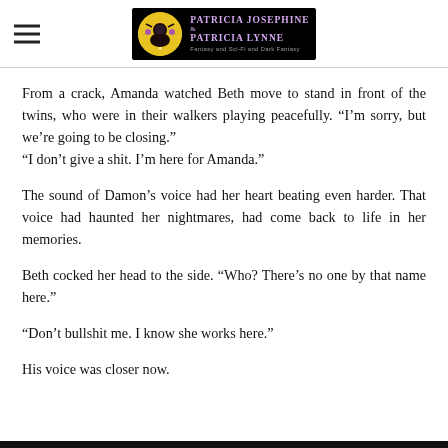Patricia Josephine & Patricia Lynne — Fantasy and Sci-Fi and Dark Fantasy logo
From a crack, Amanda watched Beth move to stand in front of the twins, who were in their walkers playing peacefully. “I’m sorry, but we’re going to be closing.”
“I don’t give a shit. I’m here for Amanda.”
The sound of Damon’s voice had her heart beating even harder. That voice had haunted her nightmares, had come back to life in her memories.
Beth cocked her head to the side. “Who? There’s no one by that name here.”
“Don’t bullshit me. I know she works here.”
His voice was closer now.